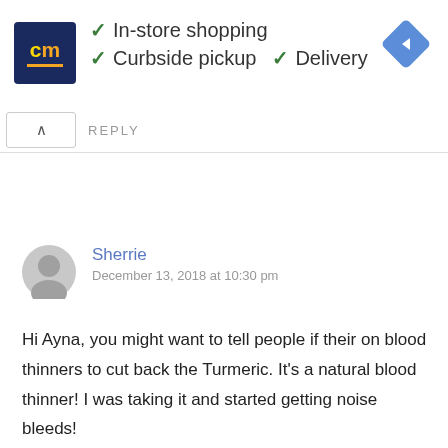[Figure (other): Advertisement banner for CM (Construction Materials or similar store) showing logo, checkmarks for In-store shopping, Curbside pickup, and Delivery, plus a navigation arrow icon]
REPLY
Sherrie
December 13, 2018 at 10:30 pm
Hi Ayna, you might want to tell people if their on blood thinners to cut back the Turmeric. It's a natural blood thinner! I was taking it and started getting noise bleeds!